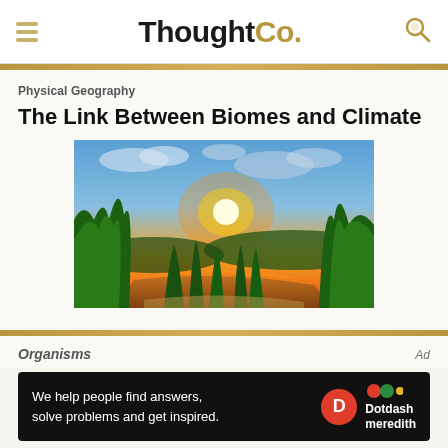ThoughtCo.
Physical Geography
The Link Between Biomes and Climate
[Figure (photo): Sunset landscape over a river with lush green tropical vegetation in the foreground and a vivid orange and blue sky]
Organisms
Ad
We help people find answers, solve problems and get inspired. Dotdash meredith